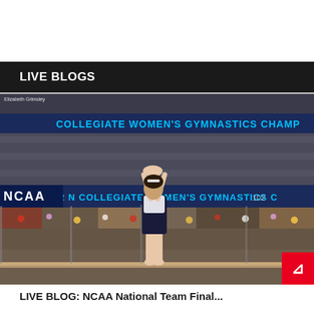LIVE BLOGS
[Figure (photo): A female gymnast performing on the balance beam at the 2022 NCAA Collegiate Women's Gymnastics Championships, with a packed arena crowd in the background. Photo credit: Elizabeth Grimsley.]
LIVE BLOG: NCAA National Team Final...